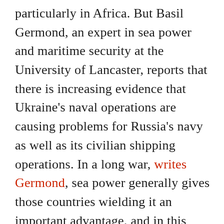particularly in Africa. But Basil Germond, an expert in sea power and maritime security at the University of Lancaster, reports that there is increasing evidence that Ukraine's naval operations are causing problems for Russia's navy as well as its civilian shipping operations. In a long war, writes Germond, sea power generally gives those countries wielding it an important advantage, and in this confrontation, Russia, a continental power, faces pressure from a range of seafaring nations, which will eventually contribute to Moscow's strategic failure.